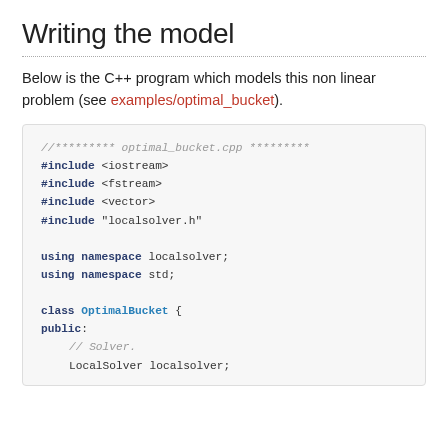Writing the model
Below is the C++ program which models this non linear problem (see examples/optimal_bucket).
//********* optimal_bucket.cpp *********
#include <iostream>
#include <fstream>
#include <vector>
#include "localsolver.h"

using namespace localsolver;
using namespace std;

class OptimalBucket {
public:
    // Solver.
    LocalSolver localsolver;